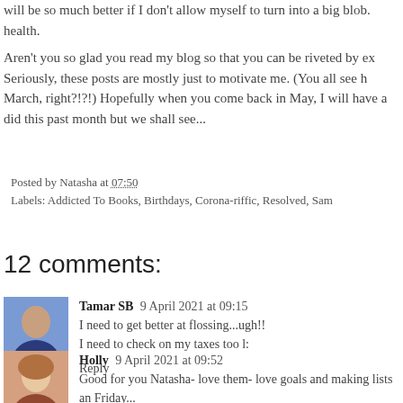will be so much better if I don't allow myself to turn into a big blob. health.
Aren't you so glad you read my blog so that you can be riveted by ex Seriously, these posts are mostly just to motivate me. (You all see h March, right?!?!) Hopefully when you come back in May, I will have a did this past month but we shall see...
Posted by Natasha at 07:50
Labels: Addicted To Books, Birthdays, Corona-riffic, Resolved, Sam
12 comments:
Tamar SB  9 April 2021 at 09:15
I need to get better at flossing...ugh!!
I need to check on my taxes too l:
Reply
Holly  9 April 2021 at 09:52
Good for you Natasha- love them- love goals and making lists an Friday...